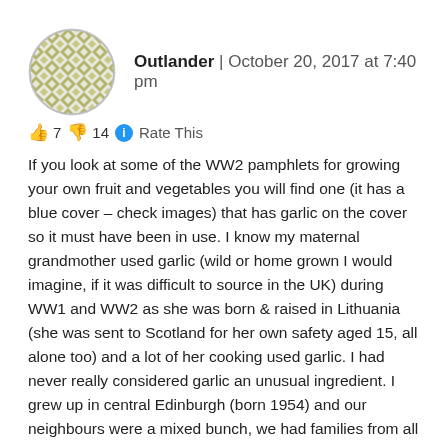[Figure (illustration): Circular avatar with a geometric diamond/lattice pattern in olive green and white, resembling a decorative tile or mosaic design.]
Outlander | October 20, 2017 at 7:40 pm
👍 7 👎 14 ℹ Rate This
If you look at some of the WW2 pamphlets for growing your own fruit and vegetables you will find one (it has a blue cover – check images) that has garlic on the cover so it must have been in use. I know my maternal grandmother used garlic (wild or home grown I would imagine, if it was difficult to source in the UK) during WW1 and WW2 as she was born & raised in Lithuania (she was sent to Scotland for her own safety aged 15, all alone too) and a lot of her cooking used garlic. I had never really considered garlic an unusual ingredient. I grew up in central Edinburgh (born 1954) and our neighbours were a mixed bunch, we had families from all over.
So I had school friends from Italy, Poland, Africa, Jamaica, India, Pakistan as well as exotic places